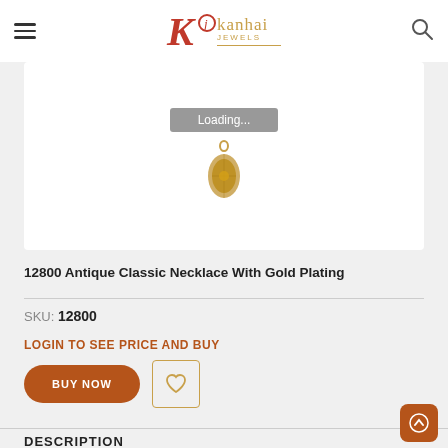Kanhai Jewels
[Figure (photo): Antique gold pendant necklace with a round decorative ornamental design, shown with a 'Loading...' overlay bar above it]
12800 Antique Classic Necklace With Gold Plating
SKU: 12800
LOGIN TO SEE PRICE AND BUY
BUY NOW
DESCRIPTION